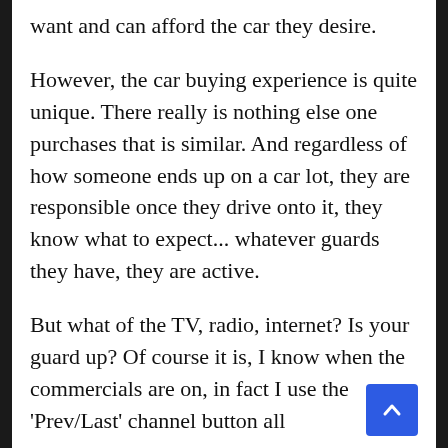want and can afford the car they desire.
However, the car buying experience is quite unique. There really is nothing else one purchases that is similar. And regardless of how someone ends up on a car lot, they are responsible once they drive onto it, they know what to expect... whatever guards they have, they are active.
But what of the TV, radio, internet? Is your guard up? Of course it is, I know when the commercials are on, in fact I use the 'Prev/Last' channel button all